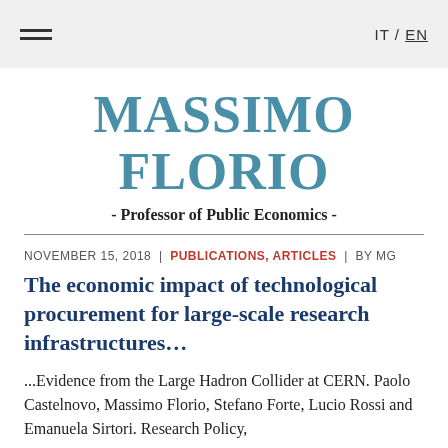IT / EN
MASSIMO FLORIO
- Professor of Public Economics -
NOVEMBER 15, 2018 | PUBLICATIONS, ARTICLES | BY MG
The economic impact of technological procurement for large-scale research infrastructures…
...Evidence from the Large Hadron Collider at CERN. Paolo Castelnovo, Massimo Florio, Stefano Forte, Lucio Rossi and Emanuela Sirtori. Research Policy, Vol…